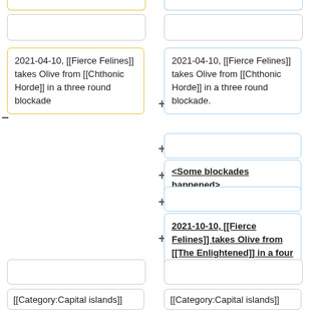(partial top box left, yellow border)
(partial top box right, blue border)
(blank box left)
(blank box right)
2021-04-10, [[Fierce Felines]] takes Olive from [[Chthonic Horde]] in a three round blockade
2021-04-10, [[Fierce Felines]] takes Olive from [[Chthonic Horde]] in a three round blockade.
(empty blue box)
<Some blockades happened>
(empty blue box)
2021-10-10, [[Fierce Felines]] takes Olive from [[The Enlightened]] in a four round blockade.
(bottom blank left)
(bottom blank right)
[[Category:Capital islands]]
[[Category:Capital islands]]